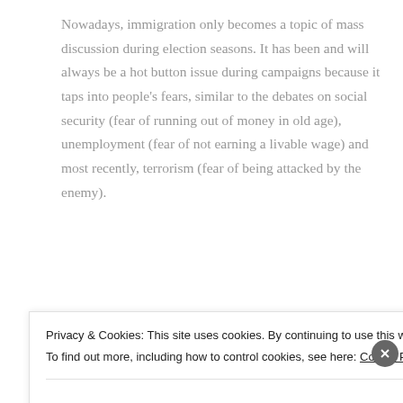Nowadays, immigration only becomes a topic of mass discussion during election seasons. It has been and will always be a hot button issue during campaigns because it taps into people's fears, similar to the debates on social security (fear of running out of money in old age), unemployment (fear of not earning a livable wage) and most recently, terrorism (fear of being attacked by the enemy).
[Figure (screenshot): Green Jetpack advertisement banner partially visible, showing Jetpack logo and 'Back up your site' call to action text in green on green background.]
[Figure (screenshot): Second advertisement banner partially visible with blue and red elements.]
Privacy & Cookies: This site uses cookies. By continuing to use this website, you agree to their use.
To find out more, including how to control cookies, see here: Cookie Policy
Close and accept